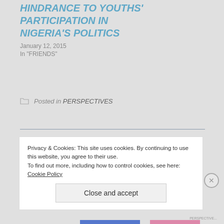HINDRANCE TO YOUTHS' PARTICIPATION IN NIGERIA'S POLITICS
January 12, 2015
In "FRIENDS"
Posted in PERSPECTIVES
← PREVIOUS
LET OUR LIVES ALSO COUNT
Privacy & Cookies: This site uses cookies. By continuing to use this website, you agree to their use.
To find out more, including how to control cookies, see here: Cookie Policy
Close and accept